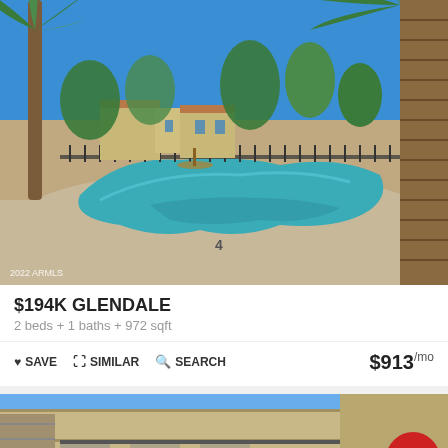[Figure (photo): Outdoor swimming pool at a residential community in Glendale with palm trees, blue sky, and apartment buildings in background. Watermark reads 2022 ARMLS.]
$194K GLENDALE
2 beds + 1 baths + 972 sqft
♥ SAVE  🖼 SIMILAR  🔍 SEARCH  $913 /mo
[Figure (photo): Exterior of a multi-story apartment building showing balconies and stairway, blue sky visible, with red chat button overlay.]